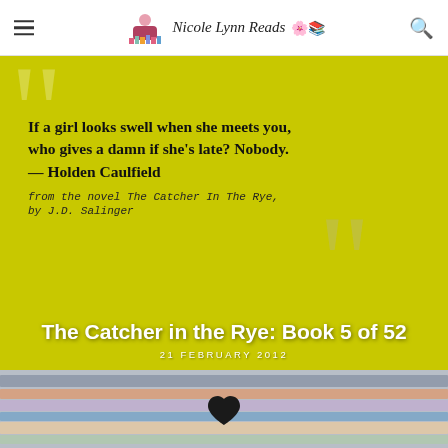Nicole Lynn Reads
[Figure (illustration): Yellow/olive background with large white quotation mark decorations and text quote: 'If a girl looks swell when she meets you, who gives a damn if she's late? Nobody. — Holden Caulfield from the novel The Catcher In The Rye, by J.D. Salinger']
The Catcher in the Rye: Book 5 of 52
21 FEBRUARY 2012
[Figure (photo): Stack of colorful books photographed from the side, showing spines and pages fanned out, with a black heart icon visible]